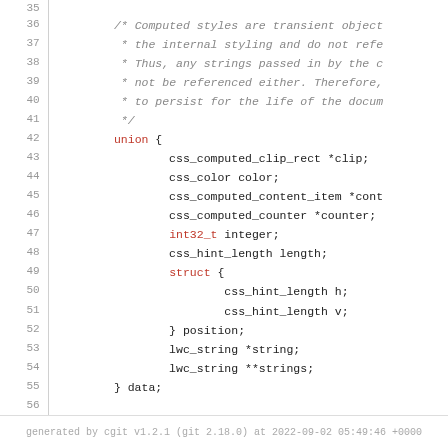[Figure (screenshot): Source code listing in C showing lines 35-60 of a CSS hint structure definition, with line numbers on the left and syntax-highlighted code on the right.]
generated by cgit v1.2.1 (git 2.18.0) at 2022-09-02 05:49:46 +0000